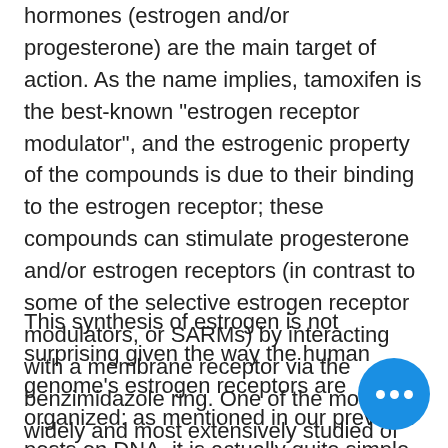hormones (estrogen and/or progesterone) are the main target of action. As the name implies, tamoxifen is the best-known "estrogen receptor modulator", and the estrogenic property of the compounds is due to their binding to the estrogen receptor; these compounds can stimulate progesterone and/or estrogen receptors (in contrast to some of the selective estrogen receptor modulators, or SARMs) by interacting with a membrane receptor via the benzimidazole ring. One of the most widely and most extensively studied of these compounds is raloxifene, a metabolite of DES, tamoxifen.
This synthesis of estrogen is not surprising given the way the human genome's estrogen receptors are organized: as mentioned in our previous posts on DNA, it is actually quite simple, anabolic steroids medical. This means that we have no evidence, whether